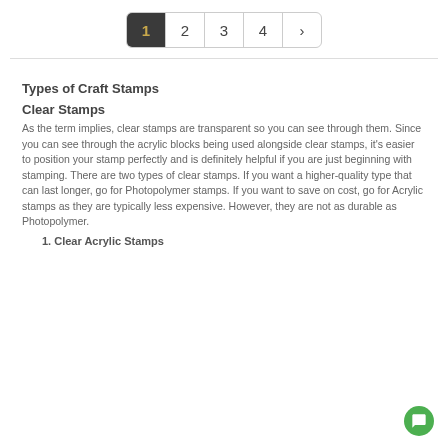[Figure (other): Pagination bar with items: 1 (active/dark), 2, 3, 4, and a right arrow button]
Types of Craft Stamps
Clear Stamps
As the term implies, clear stamps are transparent so you can see through them. Since you can see through the acrylic blocks being used alongside clear stamps, it's easier to position your stamp perfectly and is definitely helpful if you are just beginning with stamping. There are two types of clear stamps. If you want a higher-quality type that can last longer, go for Photopolymer stamps. If you want to save on cost, go for Acrylic stamps as they are typically less expensive. However, they are not as durable as Photopolymer.
1. Clear Acrylic Stamps